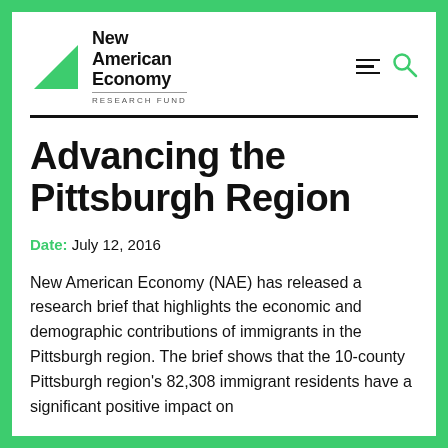[Figure (logo): New American Economy Research Fund logo with green triangle and bold text]
Advancing the Pittsburgh Region
Date: July 12, 2016
New American Economy (NAE) has released a research brief that highlights the economic and demographic contributions of immigrants in the Pittsburgh region. The brief shows that the 10-county Pittsburgh region's 82,308 immigrant residents have a significant positive impact on